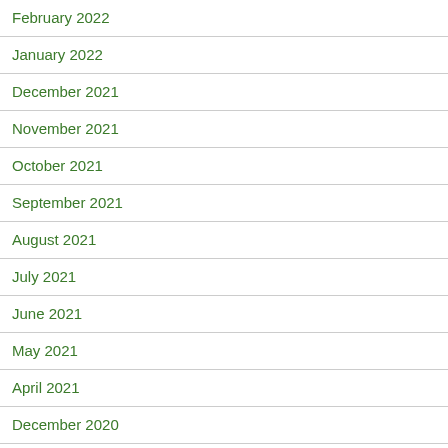February 2022
January 2022
December 2021
November 2021
October 2021
September 2021
August 2021
July 2021
June 2021
May 2021
April 2021
December 2020
October 2020